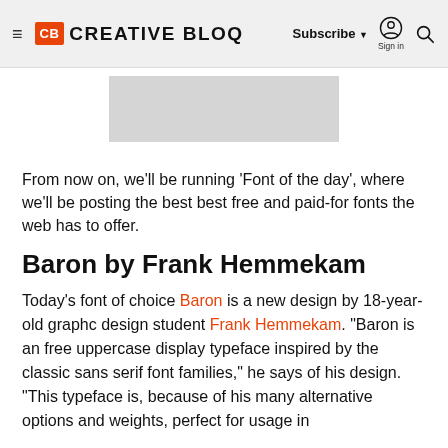Creative Bloq — Subscribe | Sign in | Search
[Figure (photo): Partial image placeholder area visible at top of article, grey rectangle]
From now on, we'll be running 'Font of the day', where we'll be posting the best best free and paid-for fonts the web has to offer.
Baron by Frank Hemmekam
Today's font of choice Baron is a new design by 18-year-old graphc design student Frank Hemmekam. "Baron is an free uppercase display typeface inspired by the classic sans serif font families," he says of his design. "This typeface is, because of his many alternative options and weights, perfect for usage in